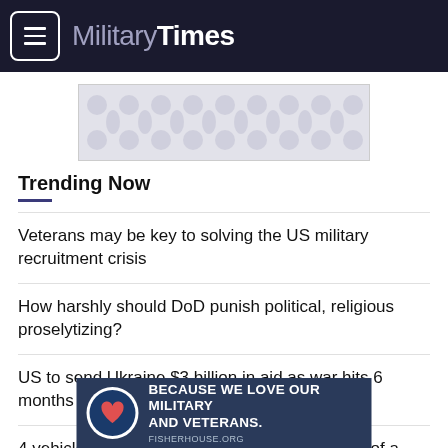MilitaryTimes
[Figure (other): Advertisement banner with decorative pattern]
Trending Now
Veterans may be key to solving the US military recruitment crisis
How harshly should DoD punish political, religious proselytizing?
US to send Ukraine $3 billion in aid as war hits 6 months
4 vehicles troops can buy at 27% APR instead of a Dodge Charger
[Figure (other): Fisher House Foundation bottom advertisement: BECAUSE WE LOVE OUR MILITARY AND VETERANS. FISHERHOUSE.ORG]